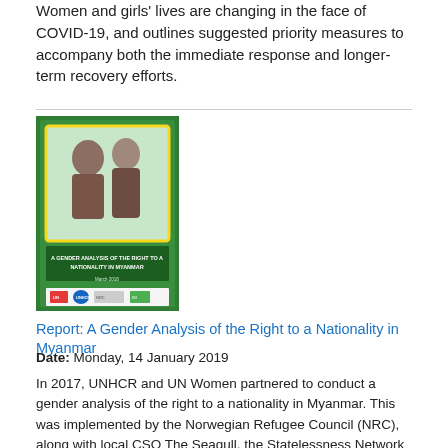Women and girls' lives are changing in the face of COVID-19, and outlines suggested priority measures to accompany both the immediate response and longer-term recovery efforts.
[Figure (photo): Book cover of 'A Gender Analysis of the Right to a Nationality in Myanmar' with a green background and an image of women/girls on the cover, with organizational logos at the bottom.]
Report: A Gender Analysis of the Right to a Nationality in Myanmar
Date: Monday, 14 January 2019
In 2017, UNHCR and UN Women partnered to conduct a gender analysis of the right to a nationality in Myanmar. This was implemented by the Norwegian Refugee Council (NRC), along with local CSO The Seagull, the Statelessness Network Asia Pacific (SNAP) and the Institute on Statelessness and Inclusion (ISI). The report was launched on 7 March 2018 as part of a series of events celebrating International Women's Day. Conducted in Mawlamyine, Mandalay and Yangon, the study included participants...